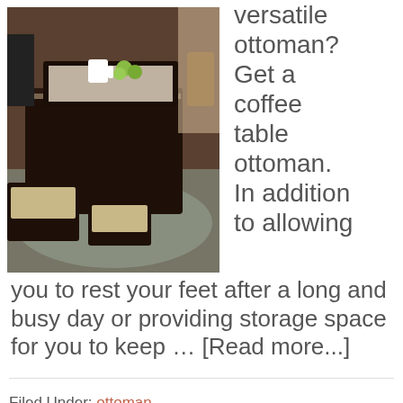[Figure (photo): A dark brown leather coffee table ottoman with a serving tray holding a mug and fruit on top, with two smaller square ottomans in front, photographed in a living room setting]
versatile ottoman? Get a coffee table ottoman. In addition to allowing you to rest your feet after a long and busy day or providing storage space for you to keep … [Read more...]
Filed Under: ottoman
Tagged With: Best Coffee table ottoman, Coffee Table,